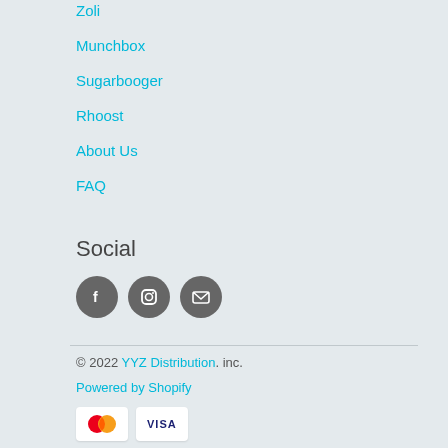Zoli
Munchbox
Sugarbooger
Rhoost
About Us
FAQ
Social
[Figure (infographic): Three circular social media icons: Facebook (f), Instagram (camera), and Email (envelope)]
© 2022 YYZ Distribution. inc.
Powered by Shopify
[Figure (other): Mastercard and Visa payment card icons]